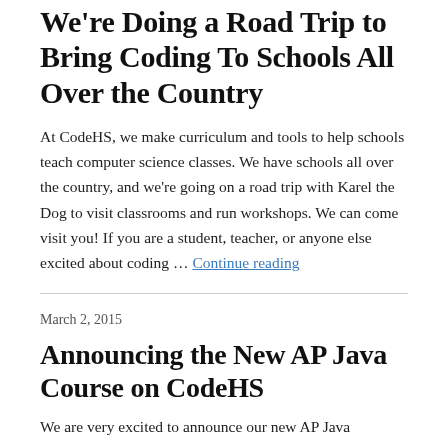We're Doing a Road Trip to Bring Coding To Schools All Over the Country
At CodeHS, we make curriculum and tools to help schools teach computer science classes. We have schools all over the country, and we're going on a road trip with Karel the Dog to visit classrooms and run workshops. We can come visit you! If you are a student, teacher, or anyone else excited about coding … Continue reading
March 2, 2015
Announcing the New AP Java Course on CodeHS
We are very excited to announce our new AP Java